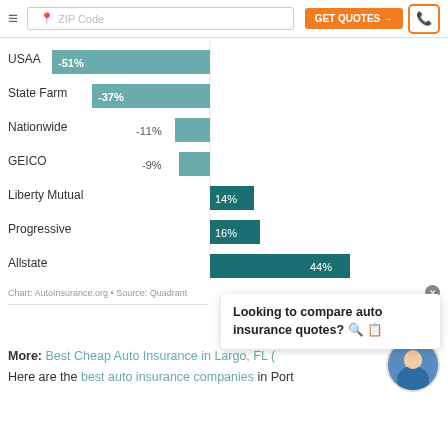[Figure (screenshot): Website navigation header with hamburger menu, ZIP Code search input, orange GET QUOTES button, and phone icon button]
[Figure (bar-chart): Auto insurance price comparison by company]
Chart: AutoInsurance.org • Source: Quadrant
Looking to compare auto insurance quotes? 🔍 📋
More: Best Cheap Auto Insurance in Largo, FL (
Here are the best auto insurance companies in Port